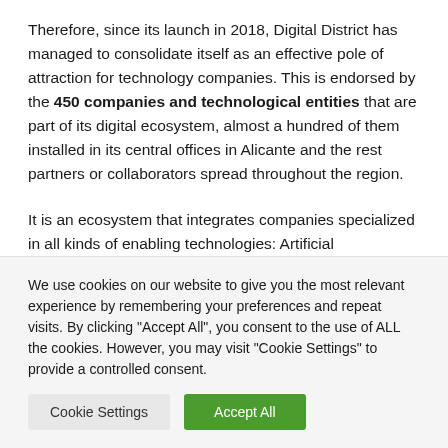Therefore, since its launch in 2018, Digital District has managed to consolidate itself as an effective pole of attraction for technology companies. This is endorsed by the 450 companies and technological entities that are part of its digital ecosystem, almost a hundred of them installed in its central offices in Alicante and the rest partners or collaborators spread throughout the region.
It is an ecosystem that integrates companies specialized in all kinds of enabling technologies: Artificial Intelligence, machine
We use cookies on our website to give you the most relevant experience by remembering your preferences and repeat visits. By clicking "Accept All", you consent to the use of ALL the cookies. However, you may visit "Cookie Settings" to provide a controlled consent.